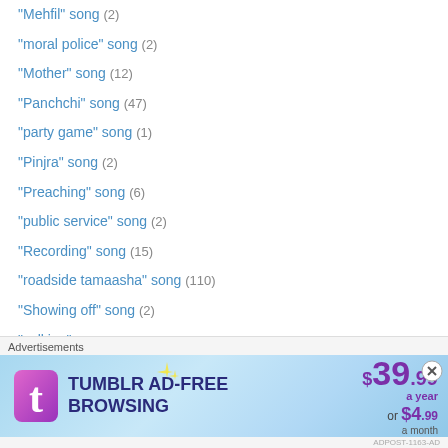"Mehfil" song (2)
"moral police" song (2)
"Mother" song (12)
"Panchchi" song (47)
"party game" song (1)
"Pinjra" song (2)
"Preaching" song (6)
"public service" song (2)
"Recording" song (15)
"roadside tamaasha" song (110)
"Showing off" song (2)
"sulking" song (23)
"teaching" song (2)
"unfulfilled" love (14)
"western" dance (8)
"women empowerment" song (12)
[Figure (screenshot): Tumblr Ad-Free Browsing advertisement banner showing $39.99 a year or $4.99 a month pricing with Tumblr logo]